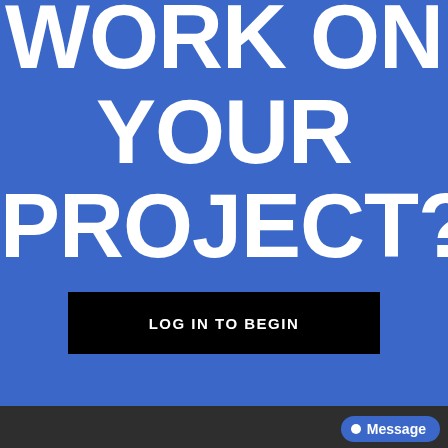WORK ON YOUR PROJECT?
LOG IN TO BEGIN
Message